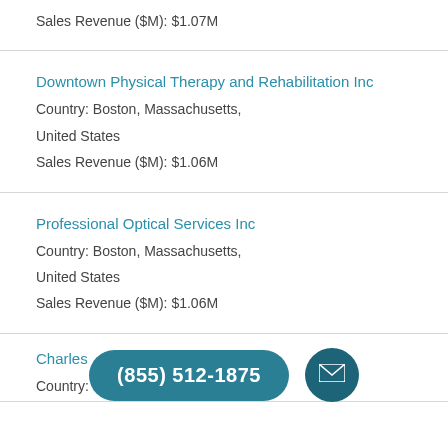Sales Revenue ($M): $1.07M
Downtown Physical Therapy and Rehabilitation Inc
Country: Boston, Massachusetts, United States
Sales Revenue ($M): $1.06M
Professional Optical Services Inc
Country: Boston, Massachusetts, United States
Sales Revenue ($M): $1.06M
[Figure (other): Phone number button showing (855) 512-1875 and email icon button overlay]
Charles ... Inc
Country: Boston, Massachusetts,